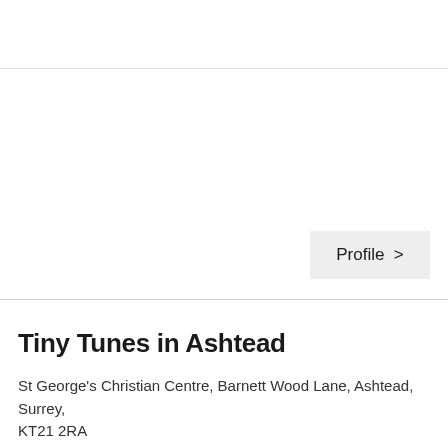Profile >
Tiny Tunes in Ashtead
St George's Christian Centre, Barnett Wood Lane, Ashtead, Surrey, KT21 2RA